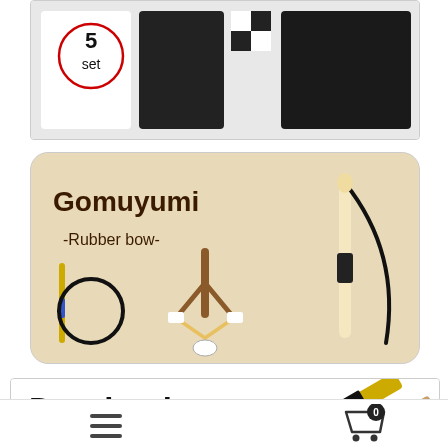[Figure (photo): Product photo showing a 5-set archery/kyudo gear package with black and white clothing items]
[Figure (photo): Gomuyumi -Rubber bow- product advertisement image showing various rubber bows on a beige background]
[Figure (photo): Duralumin Shaft 1913 product listing card showing text and a yellow/black shaft product photo]
≡  🛒 0